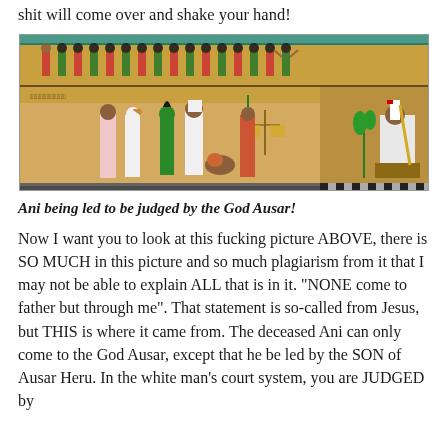shit will come over and shake your hand!
[Figure (illustration): Ancient Egyptian papyrus scene showing Ani being led before the God Ausar (Osiris) for judgment. Multiple Egyptian deities and figures in profile, with hieroglyphics. Figures include those in green, red, and white garments, the god with an animal head (Anubis), and Osiris seated on a throne at the right.]
Ani being led to be judged by the God Ausar!
Now I want you to look at this fucking picture ABOVE, there is SO MUCH in this picture and so much plagiarism from it that I may not be able to explain ALL that is in it. "NONE come to father but through me". That statement is so-called from Jesus, but THIS is where it came from. The deceased Ani can only come to the God Ausar, except that he be led by the SON of Ausar Heru. In the white man's court system, you are JUDGED by